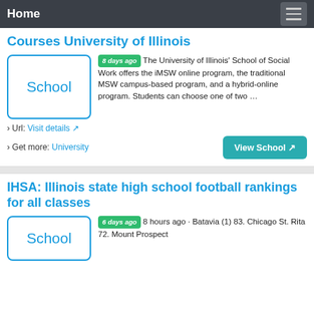Home
Courses University of Illinois
8 days ago The University of Illinois' School of Social Work offers the iMSW online program, the traditional MSW campus-based program, and a hybrid-online program. Students can choose one of two …
› Url: Visit details
› Get more: University
IHSA: Illinois state high school football rankings for all classes
6 days ago 8 hours ago · Batavia (1) 83. Chicago St. Rita 72. Mount Prospect